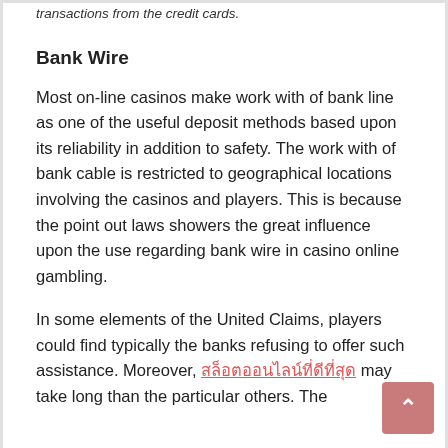transactions from the credit cards.
Bank Wire
Most on-line casinos make work with of bank line as one of the useful deposit methods based upon its reliability in addition to safety. The work with of bank cable is restricted to geographical locations involving the casinos and players. This is because the point out laws showers the great influence upon the use regarding bank wire in casino online gambling.
In some elements of the United Claims, players could find typically the banks refusing to offer such assistance. Moreover, [link text] may take long than the particular others. The